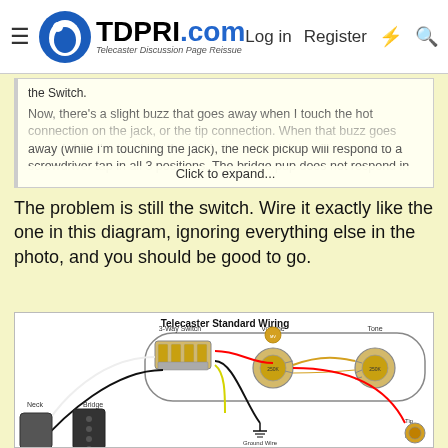TDPRI.com — Telecaster Discussion Page Reissue — Log in | Register
the Switch.

Now, there's a slight buzz that goes away when I touch the hot connection on the jack, or the tip connection. When that buzz goes away (while I'm touching the jack), the neck pickup will respond to a screwdriver tap in all 3 positions. The bridge pup does not respond in

Click to expand...
The problem is still the switch. Wire it exactly like the one in this diagram, ignoring everything else in the photo, and you should be good to go.
[Figure (engineering-diagram): Telecaster Standard Wiring diagram showing 3-Way Switch, Volume pot, Tone pot, Neck pickup, Bridge pickup, and Ground Wire connections with colored wires (red, black, yellow, white, orange).]